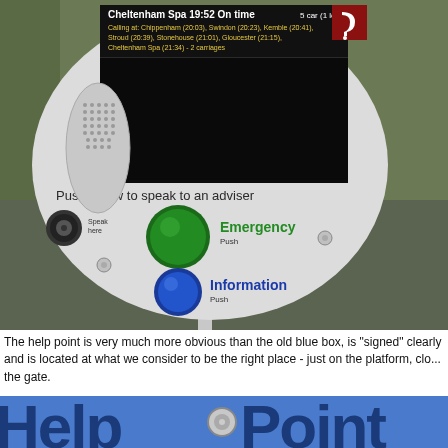[Figure (photo): Close-up photograph of a railway help point device. It is a white circular kiosk/terminal with a black display screen showing train departure information for Cheltenham Spa at 19:52 on time, calling at Chippenham, Swindon, Kemble, Stroud, Stonehouse, Gloucester, Cheltenham Spa - 2 carriages. Below the screen is text 'Push below to speak to an adviser'. The device has a green emergency button, a blue information button, a speaker/microphone panel on the left, and labels for Emergency Push and Information Push.]
The help point is very much more obvious than the old blue box, is "signed" clearly and is located at what we consider to be the right place - just on the platform, clo... the gate.
[Figure (photo): Bottom portion of a blue Help Point sign with large white/dark blue letters reading 'Help Point' with a circular bolt/fixing visible between the words.]